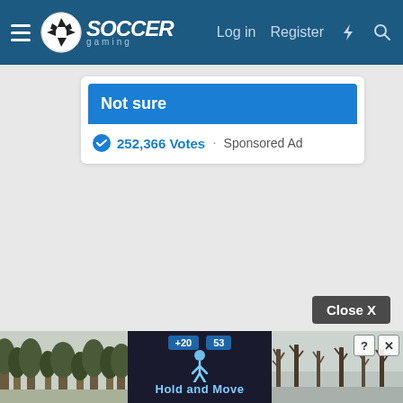Soccer Gaming — Log in | Register
Not sure
252,366 Votes · Sponsored Ad
[Figure (screenshot): Large empty grey background area of the webpage]
Close X
[Figure (screenshot): Advertisement banner at the bottom: left section shows outdoor trees photo, middle shows a mobile game with Hold and Move text and score display +20 and 53, right section shows outdoor winter trees photo with close/info buttons]